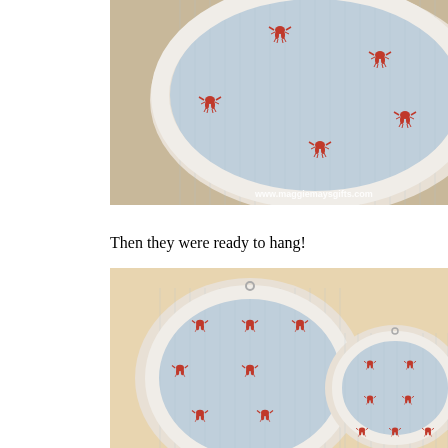[Figure (photo): Close-up of an embroidery hoop with light blue striped fabric printed with small red lobsters, white hoop frame, with watermark www.maggiemaysgifts.com in bottom right corner.]
Then they were ready to hang!
[Figure (photo): Two embroidery hoops hung on a warm beige/tan wall, both containing light blue striped fabric with small red lobster prints. A larger hoop on the left and a smaller hoop on the right.]